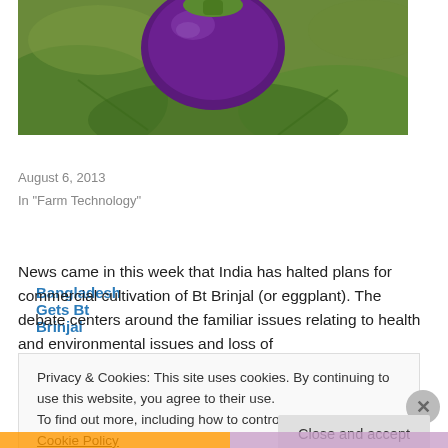[Figure (photo): Close-up photo of a purple eggplant (brinjal) with green leaves in the background]
Bangladesh Gets Bt Brinjal
August 6, 2013
In "Farm Technology"
The Case of Bt Brinjal in India
News came in this week that India has halted plans for commercial cultivation of Bt Brinjal (or eggplant). The debate centers around the familiar issues relating to health and environmental issues and loss of
Privacy & Cookies: This site uses cookies. By continuing to use this website, you agree to their use.
To find out more, including how to control cookies, see here: Cookie Policy
Close and accept